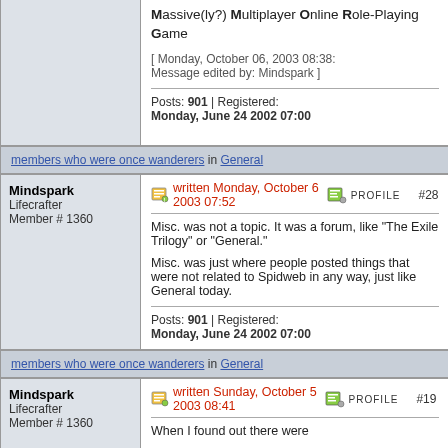Massive(ly?) Multiplayer Online Role-Playing Game
[ Monday, October 06, 2003 08:38: Message edited by: Mindspark ]
Posts: 901 | Registered: Monday, June 24 2002 07:00
members who were once wanderers in General
Mindspark
Lifecrafter
Member # 1360
written Monday, October 6 2003 07:52  PROFILE  #28
Misc. was not a topic. It was a forum, like "The Exile Trilogy" or "General."
Misc. was just where people posted things that were not related to Spidweb in any way, just like General today.
Posts: 901 | Registered: Monday, June 24 2002 07:00
members who were once wanderers in General
Mindspark
Lifecrafter
Member # 1360
written Sunday, October 5 2003 08:41  PROFILE  #19
When I found out there were